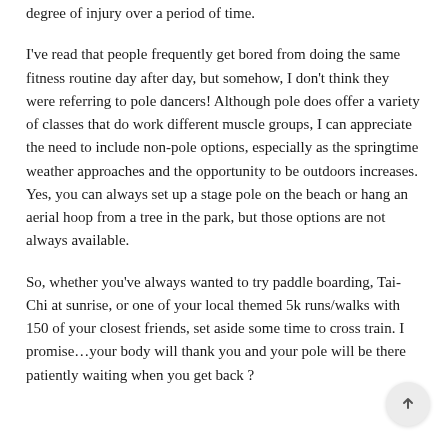degree of injury over a period of time.
I've read that people frequently get bored from doing the same fitness routine day after day, but somehow, I don't think they were referring to pole dancers! Although pole does offer a variety of classes that do work different muscle groups, I can appreciate the need to include non-pole options, especially as the springtime weather approaches and the opportunity to be outdoors increases. Yes, you can always set up a stage pole on the beach or hang an aerial hoop from a tree in the park, but those options are not always available.
So, whether you've always wanted to try paddle boarding, Tai-Chi at sunrise, or one of your local themed 5k runs/walks with 150 of your closest friends, set aside some time to cross train. I promise…your body will thank you and your pole will be there patiently waiting when you get back ?